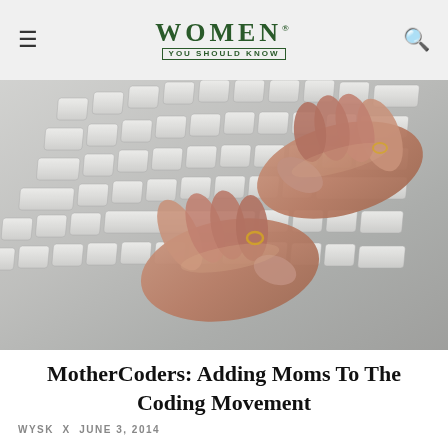WOMEN YOU SHOULD KNOW
[Figure (photo): Close-up photograph of two hands typing on a silver/white laptop keyboard]
MotherCoders: Adding Moms To The Coding Movement
WYSK x JUNE 3, 2014